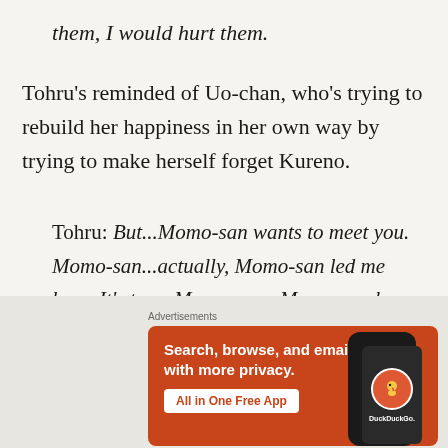them, I would hurt them.
Tohru's reminded of Uo-chan, who's trying to rebuild her happiness in her own way by trying to make herself forget Kureno.
Tohru: But...Momo-san wants to meet you. Momo-san...actually, Momo-san led me here. It's true. Momo-san...Momo-san has known about you all this time. All this time...she's been watching you all this time,
[Figure (screenshot): DuckDuckGo advertisement banner with orange background showing phone with duck logo. Text reads: Search, browse, and email with more privacy. All in One Free App. DuckDuckGo.]